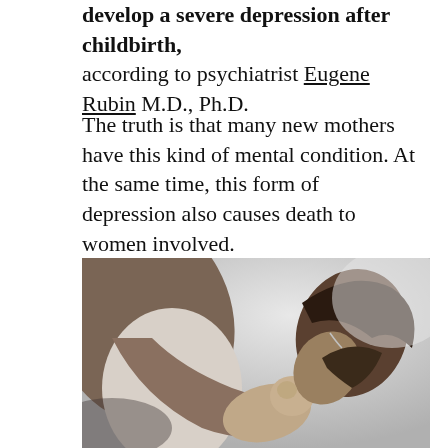develop a severe depression after childbirth, according to psychiatrist Eugene Rubin M.D., Ph.D.
The truth is that many new mothers have this kind of mental condition. At the same time, this form of depression also causes death to women involved.
[Figure (photo): Black and white photograph of a mother with short dark hair leaning down to kiss her newborn baby, cradling the infant in her arms against a light background.]